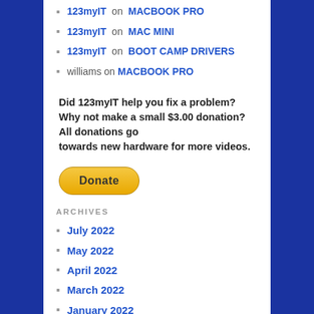123myIT on MACBOOK PRO
123myIT on MAC MINI
123myIT on BOOT CAMP DRIVERS
williams on MACBOOK PRO
Did 123myIT help you fix a problem? Why not make a small $3.00 donation? All donations go towards new hardware for more videos.
[Figure (other): PayPal Donate button - yellow rounded rectangle with bold text 'Donate']
ARCHIVES
July 2022
May 2022
April 2022
March 2022
January 2022
November 2021
October 2021